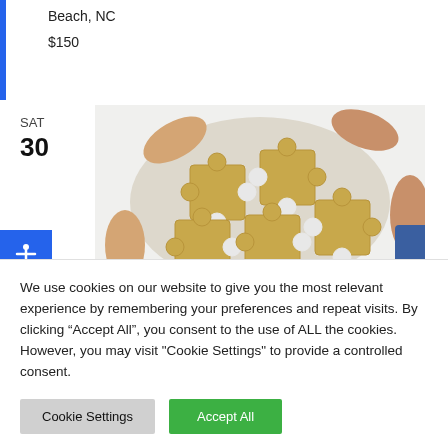Beach, NC
$150
SAT
30
[Figure (photo): Multiple pairs of hands holding golden puzzle pieces together in a circle, assembling a puzzle from above.]
We use cookies on our website to give you the most relevant experience by remembering your preferences and repeat visits. By clicking “Accept All”, you consent to the use of ALL the cookies. However, you may visit "Cookie Settings" to provide a controlled consent.
Cookie Settings
Accept All